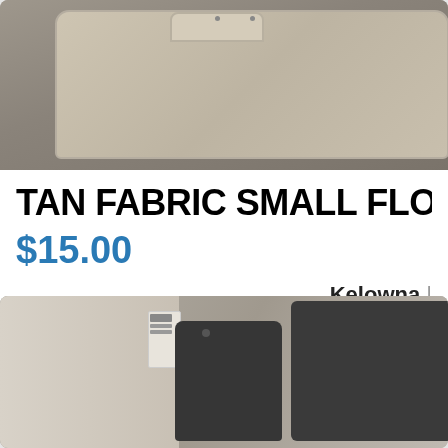[Figure (photo): Tan fabric car floor mat viewed from above, showing the mat shape with a tab/hook area at the top, on a gray surface]
TAN FABRIC SMALL FLOOR
$15.00
Kelowna |
[Figure (photo): Two dark gray/charcoal fabric car floor mats on a light carpet background, with a product tag visible on the left side]